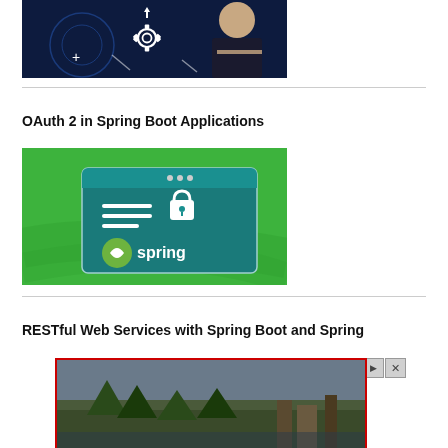[Figure (photo): Dark blue background with gear icon and person with arms crossed, course thumbnail image]
OAuth 2 in Spring Boot Applications
[Figure (illustration): Green background with browser window showing lock icon, hamburger menu lines, and Spring logo with text 'spring']
RESTful Web Services with Spring Boot and Spring
[Figure (photo): Advertisement banner showing aerial landscape photo with red border and play/close controls]